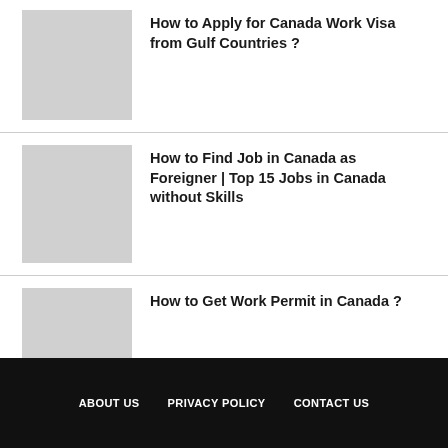How to Apply for Canada Work Visa from Gulf Countries ?
How to Find Job in Canada as Foreigner | Top 15 Jobs in Canada without Skills
How to Get Work Permit in Canada ?
ABOUT US  PRIVACY POLICY  CONTACT US